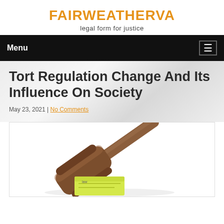FAIRWEATHERVA
legal form for justice
Menu
Tort Regulation Change And Its Influence On Society
May 23, 2021 | No Comments
[Figure (photo): A wooden judge gavel resting on a yellow sticky note, on a white background]